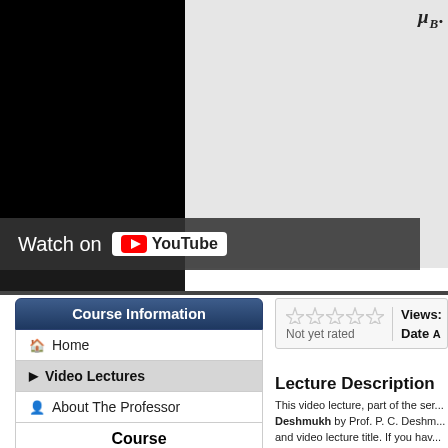[Figure (screenshot): YouTube video player area — left portion is black (video), right portion is light gray background with partial logo text in italic bold in top right corner. A 'Watch on YouTube' bar overlays the bottom of the video.]
Watch on YouTube
Course Information
Home
Video Lectures
About The Professor
Course
Subject: Physics
Views: 51,288
Not yet rated
Views: Date:
Lecture Description
This video lecture, part of the ser... Deshmukh by Prof. P. C. Deshm... and video lecture title. If you hav... particularly what Physics topics a... video with your suggested descr...